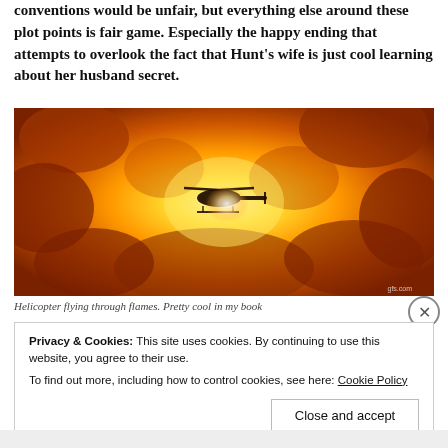conventions would be unfair, but everything else around these plot points is fair game. Especially the happy ending that attempts to overlook the fact that Hunt's wife is just cool learning about her husband secret.
[Figure (photo): A helicopter silhouette flying through a massive fireball/explosion with orange and yellow flames filling the entire frame. A small watermark 'gfs.com' is visible in the bottom right corner.]
Helicopter flying through flames. Pretty cool in my book
Privacy & Cookies: This site uses cookies. By continuing to use this website, you agree to their use.
To find out more, including how to control cookies, see here: Cookie Policy
Close and accept